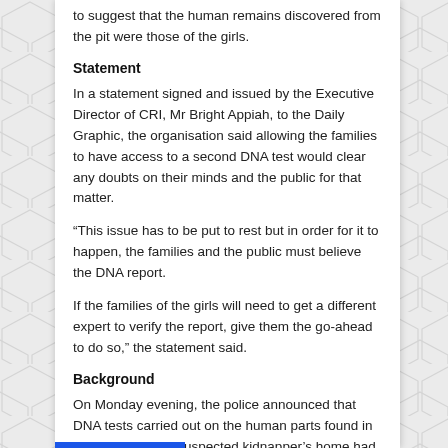to suggest that the human remains discovered from the pit were those of the girls.
Statement
In a statement signed and issued by the Executive Director of CRI, Mr Bright Appiah, to the Daily Graphic, the organisation said allowing the families to have access to a second DNA test would clear any doubts on their minds and the public for that matter.
“This issue has to be put to rest but in order for it to happen, the families and the public must believe the DNA report.
If the families of the girls will need to get a different expert to verify the report, give them the go-ahead to do so,” the statement said.
Background
On Monday evening, the police announced that DNA tests carried out on the human parts found in the vicinity of the suspected kidnapper’s home had